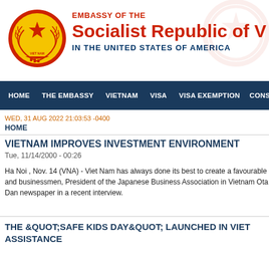[Figure (logo): Emblem of the Socialist Republic of Vietnam - circular seal with red star on gold background, surrounded by rice stalks and gear]
EMBASSY OF THE Socialist Republic of V IN THE UNITED STATES OF AMERICA
HOME | THE EMBASSY | VIETNAM | VISA | VISA EXEMPTION | CONSULAR
WED, 31 AUG 2022 21:03:53 -0400
HOME
VIETNAM IMPROVES INVESTMENT ENVIRONMENT
Tue, 11/14/2000 - 00:26
Ha Noi , Nov. 14 (VNA) - Viet Nam has always done its best to create a favourable environment for foreign investors and businessmen, President of the Japanese Business Association in Vietnam Otake Makoto told the Nhan Dan newspaper in a recent interview.
THE &QUOT;SAFE KIDS DAY&QUOT; LAUNCHED IN VIET... ASSISTANCE